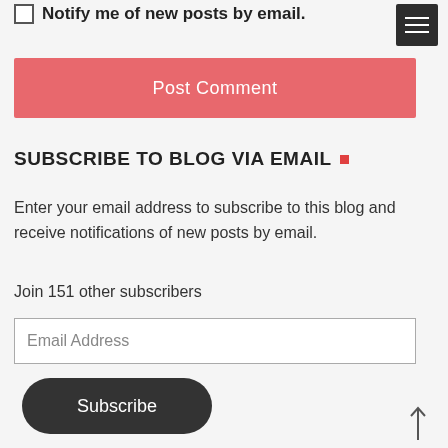Notify me of new posts by email.
Post Comment
SUBSCRIBE TO BLOG VIA EMAIL
Enter your email address to subscribe to this blog and receive notifications of new posts by email.
Join 151 other subscribers
Email Address
Subscribe